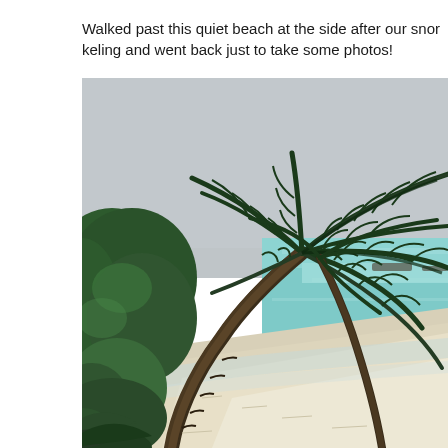Walked past this quiet beach at the side after our snorkeling and went back just to take some photos!
[Figure (photo): A tropical beach scene with a leaning palm tree in the foreground, green tropical vegetation on the left, white sandy beach, and calm turquoise/teal ocean water in the background under an overcast grey sky.]